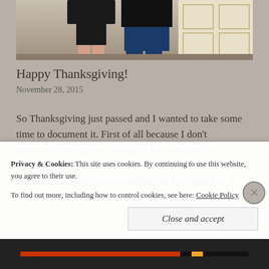[Figure (photo): Two people standing together indoors, one wearing a black skirt and the other in dark jeans, with a decorative white cabinet in the background.]
Happy Thanksgiving!
November 28, 2015
So Thanksgiving just passed and I wanted to take some time to document it. First of all because I don't remember the last time we got a family picture of everyone in my family. Kids and all! Our family is complete, as in no more grandkids will be added so it was very special to… More
Privacy & Cookies: This site uses cookies. By continuing to use this website, you agree to their use.
To find out more, including how to control cookies, see here: Cookie Policy
Close and accept